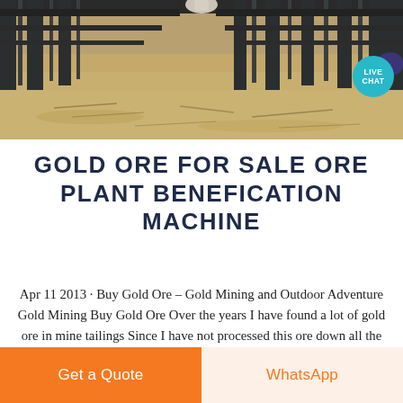[Figure (photo): Photograph of mining/industrial equipment on sandy ground, showing metal frame structures, at close range. A live chat button overlay is present in the upper right.]
GOLD ORE FOR SALE ORE PLANT BENEFICATION MACHINE
Apr 11 2013 · Buy Gold Ore – Gold Mining and Outdoor Adventure Gold Mining Buy Gold Ore Over the years I have found a lot of gold ore in mine tailings Since I have not processed this ore down all the way its for sale in 1 pound increments Buy Raw Gold Ore Silver
Get a Quote
WhatsApp